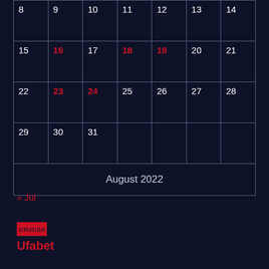| Sun | Mon | Tue | Wed | Thu | Fri | Sat |
| --- | --- | --- | --- | --- | --- | --- |
| 8 | 9 | 10 | 11 | 12 | 13 | 14 |
| 15 | 16 | 17 | 18 | 19 | 20 | 21 |
| 22 | 23 | 24 | 25 | 26 | 27 | 28 |
| 29 | 30 | 31 |  |  |  |  |
August 2022
« Jul
แทงบอล
Ufabet